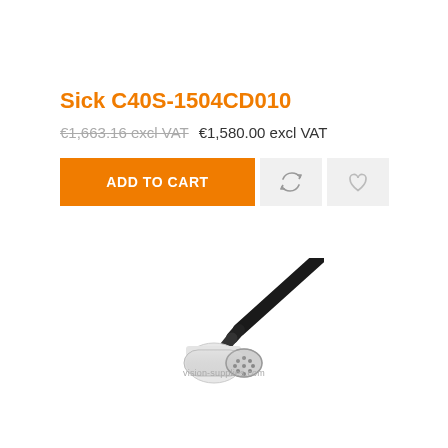Sick C40S-1504CD010
€1,663.16 excl VAT  €1,580.00 excl VAT
[Figure (screenshot): ADD TO CART button in orange with two icon buttons (refresh/compare and heart/wishlist) in light grey]
[Figure (photo): Product photo of Sick C40S-1504CD010 cable connector — a black cable with a white circular multi-pin connector at the end, with vision-supplies.com watermark]
vision-supplies.com